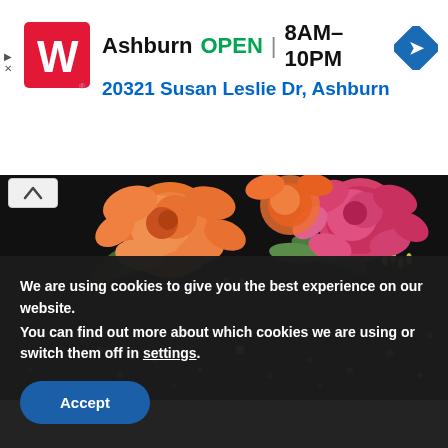[Figure (logo): Walgreens red square logo with white W letter]
Ashburn OPEN | 8AM–10PM 20321 Susan Leslie Dr, Ashburn
[Figure (photo): Floral arrangement with orange and pink roses on dark black background with gold confetti dots]
We are using cookies to give you the best experience on our website.
You can find out more about which cookies we are using or switch them off in settings.
Accept